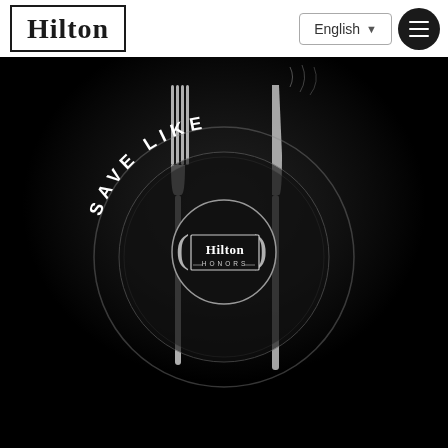[Figure (logo): Hilton hotel logo in a rectangular border]
English ▼
[Figure (illustration): Hamburger menu icon (three horizontal lines) in a dark circular button]
[Figure (photo): Dark black and white hero image showing a dinner plate with fork and knife, with 'SAVE LIKE' text arched above and 'Hilton Honors' logo badge in the center]